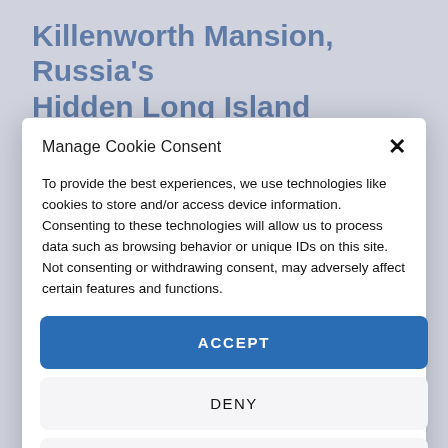Killenworth Mansion, Russia's Hidden Long Island Paradise
Manage Cookie Consent
To provide the best experiences, we use technologies like cookies to store and/or access device information. Consenting to these technologies will allow us to process data such as browsing behavior or unique IDs on this site. Not consenting or withdrawing consent, may adversely affect certain features and functions.
ACCEPT
DENY
VIEW PREFERENCES
Terms of Service   Privacy Policy